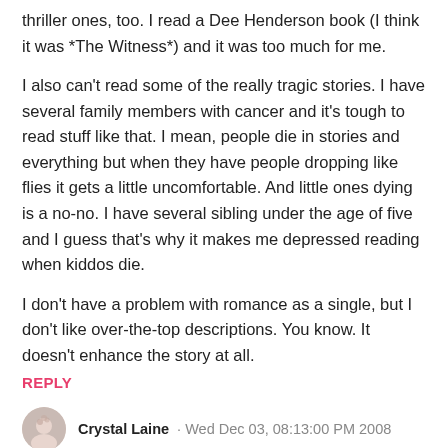thriller ones, too. I read a Dee Henderson book (I think it was *The Witness*) and it was too much for me.
I also can't read some of the really tragic stories. I have several family members with cancer and it's tough to read stuff like that. I mean, people die in stories and everything but when they have people dropping like flies it gets a little uncomfortable. And little ones dying is a no-no. I have several sibling under the age of five and I guess that's why it makes me depressed reading when kiddos die.
I don't have a problem with romance as a single, but I don't like over-the-top descriptions. You know. It doesn't enhance the story at all.
REPLY
Crystal Laine · Wed Dec 03, 08:13:00 PM 2008